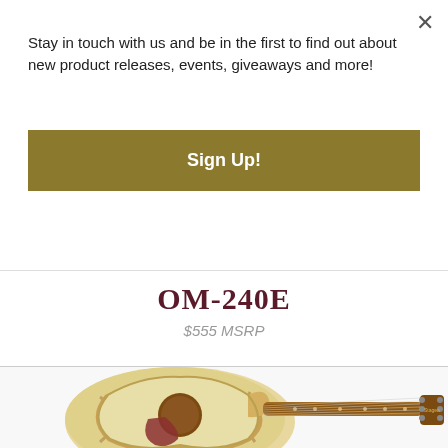Stay in touch with us and be in the first to find out about new product releases, events, giveaways and more!
Sign Up!
[Figure (photo): Partial view of an acoustic guitar body (brown/amber) visible behind the modal popup]
OM-240E
$555 MSRP
[Figure (photo): Full acoustic-electric guitar (OM-240E) with natural spruce top, mahogany back and sides, cutaway body, red tortoise pickguard, rosewood fretboard, and Stagea headstock logo]